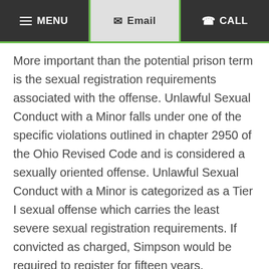MENU | Email | CALL
More important than the potential prison term is the sexual registration requirements associated with the offense. Unlawful Sexual Conduct with a Minor falls under one of the specific violations outlined in chapter 2950 of the Ohio Revised Code and is considered a sexually oriented offense. Unlawful Sexual Conduct with a Minor is categorized as a Tier I sexual offense which carries the least severe sexual registration requirements. If convicted as charged, Simpson would be required to register for fifteen years.
The good news for Simpson is that the government